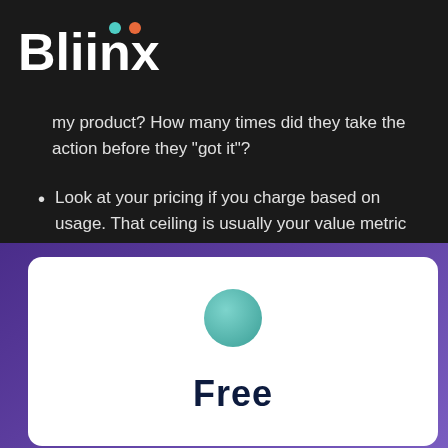Bliinx
my product? How many times did they take the action before they "got it"?
Look at your pricing if you charge based on usage. That ceiling is usually your value metric milestone.
[Figure (illustration): Purple gradient card background containing a white rounded rectangle card with a teal circle and bold dark text reading 'Free']